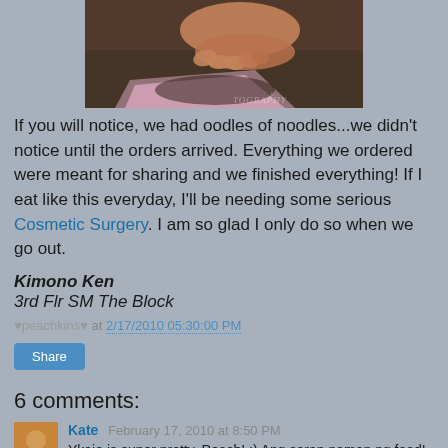[Figure (photo): Close-up photo of a child's hand on a dark table surface, with pink paper/tissue visible. A watermark reads 'TOGRAPHY' in the bottom right corner.]
If you will notice, we had oodles of noodles...we didn't notice until the orders arrived. Everything we ordered were meant for sharing and we finished everything! If I eat like this everyday, I'll be needing some serious Cosmetic Surgery. I am so glad I only do so when we go out.
Kimono Ken
3rd Flr SM The Block
♥peachkins♥ at 2/17/2010 05:30:00 PM
Share
6 comments:
Kate  February 17, 2010 at 8:50 PM
Ykaie is super pretty, Peach! :) Ang sarap naman ng food!